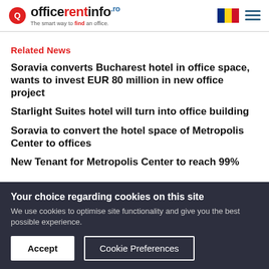officerentinfo.ro — The smart way to find an office.
Related News
Soravia converts Bucharest hotel in office space, wants to invest EUR 80 million in new office project
Starlight Suites hotel will turn into office building
Soravia to convert the hotel space of Metropolis Center to offices
New Tenant for Metropolis Center to reach 99%
Your choice regarding cookies on this site
We use cookies to optimise site functionality and give you the best possible experience.
[Accept] [Cookie Preferences]